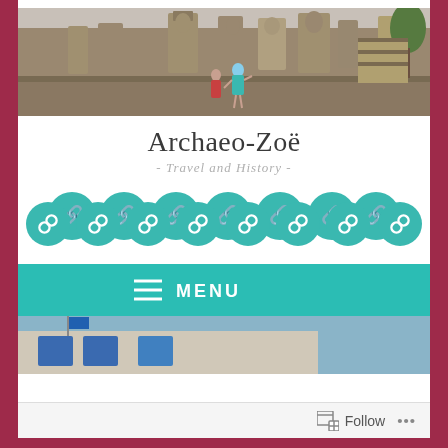[Figure (photo): Wide banner photo of ancient stone temple ruins (Angkor Bayon style), with a woman in a teal dress standing on the platform with arms raised, overcast sky above.]
Archaeo-Zoë
- Travel and History -
[Figure (infographic): Row of 8 teal circular link/chain icons serving as navigation buttons]
[Figure (infographic): Teal horizontal menu bar with hamburger icon and MENU text]
[Figure (photo): Partial bottom image showing a building with blue windows and overcast sky]
Follow